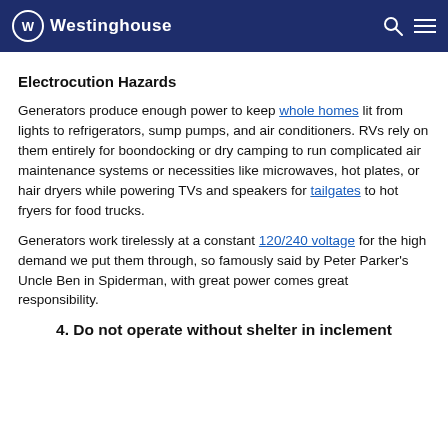Westinghouse
Electrocution Hazards
Generators produce enough power to keep whole homes lit from lights to refrigerators, sump pumps, and air conditioners. RVs rely on them entirely for boondocking or dry camping to run complicated air maintenance systems or necessities like microwaves, hot plates, or hair dryers while powering TVs and speakers for tailgates to hot fryers for food trucks.
Generators work tirelessly at a constant 120/240 voltage for the high demand we put them through, so famously said by Peter Parker's Uncle Ben in Spiderman, with great power comes great responsibility.
4. Do not operate without shelter in inclement